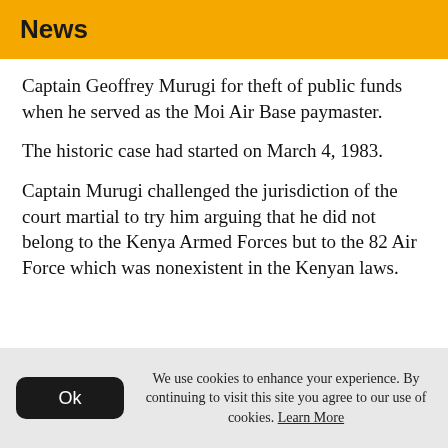News
Captain Geoffrey Murugi for theft of public funds when he served as the Moi Air Base paymaster.
The historic case had started on March 4, 1983.
Captain Murugi challenged the jurisdiction of the court martial to try him arguing that he did not belong to the Kenya Armed Forces but to the 82 Air Force which was nonexistent in the Kenyan laws.
We use cookies to enhance your experience. By continuing to visit this site you agree to our use of cookies. Learn More